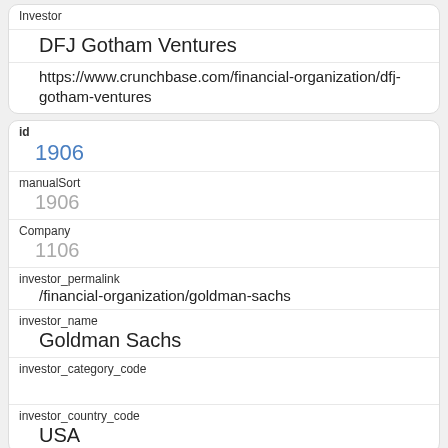| Investor |  |
|  | DFJ Gotham Ventures |
|  | https://www.crunchbase.com/financial-organization/dfj-gotham-ventures |
| id | 1906 |
| manualSort | 1906 |
| Company | 1106 |
| investor_permalink | /financial-organization/goldman-sachs |
| investor_name | Goldman Sachs |
| investor_category_code |  |
| investor_country_code | USA |